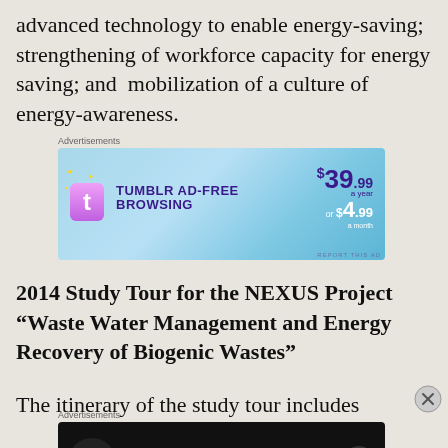advanced technology to enable energy-saving; strengthening of workforce capacity for energy saving; and  mobilization of a culture of energy-awareness.
[Figure (screenshot): Tumblr ad-free browsing advertisement banner: $39.99 a year or $4.99 a month]
2014 Study Tour for the NEXUS Project “Waste Water Management and Energy Recovery of Biogenic Wastes”
The itinerary of the study tour includes
[Figure (screenshot): Dark advertisement banner: Turn your blog into a money-making online course.]